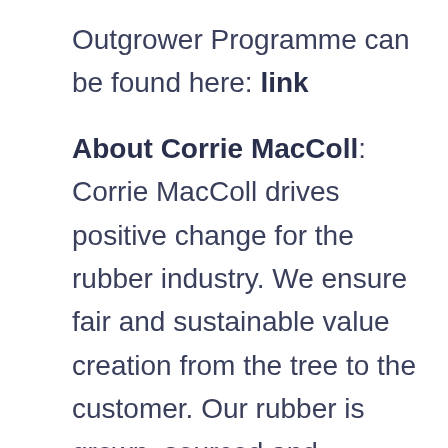Outgrower Programme can be found here: link
About Corrie MacColl: Corrie MacColl drives positive change for the rubber industry. We ensure fair and sustainable value creation from the tree to the customer. Our rubber is grown, sourced and produced to the highest quality, matching supply and demand with as little impact as possible. As a sustainable model corporate citizen, we are extensively invested in ecological conservation, economic growth and